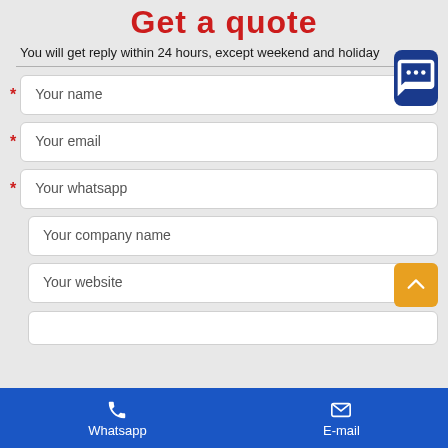Get a quote
You will get reply within 24 hours, except weekend and holiday
Your name
Your email
Your whatsapp
Your company name
Your website
Whatsapp   E-mail